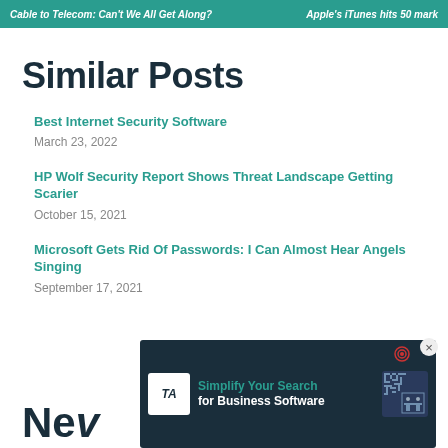Cable to Telecom: Can't We All Get Along?  |  Apple's iTunes hits 50 mark
Similar Posts
Best Internet Security Software
March 23, 2022
HP Wolf Security Report Shows Threat Landscape Getting Scarier
October 15, 2021
Microsoft Gets Rid Of Passwords: I Can Almost Hear Angels Singing
September 17, 2021
Ne…
[Figure (advertisement): Ad banner: TA logo with text 'Simplify Your Search for Business Software' on dark navy background with maze graphic]